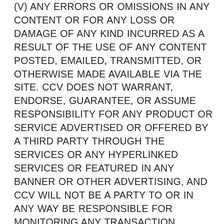(V) ANY ERRORS OR OMISSIONS IN ANY CONTENT OR FOR ANY LOSS OR DAMAGE OF ANY KIND INCURRED AS A RESULT OF THE USE OF ANY CONTENT POSTED, EMAILED, TRANSMITTED, OR OTHERWISE MADE AVAILABLE VIA THE SITE. CCV DOES NOT WARRANT, ENDORSE, GUARANTEE, OR ASSUME RESPONSIBILITY FOR ANY PRODUCT OR SERVICE ADVERTISED OR OFFERED BY A THIRD PARTY THROUGH THE SERVICES OR ANY HYPERLINKED SERVICES OR FEATURED IN ANY BANNER OR OTHER ADVERTISING, AND CCV WILL NOT BE A PARTY TO OR IN ANY WAY BE RESPONSIBLE FOR MONITORING ANY TRANSACTION BETWEEN YOU AND THIRD-PARTY PROVIDERS OF PRODUCTS OR SERVICES. AS WITH THE PURCHASE OF A PRODUCT OR SERVICE THROUGH ANY MEDIUM OR IN ANY ENVIRONMENT, YOU SHOULD USE YOUR BEST JUDGMENT AND EXERCISE CAUTION WHERE